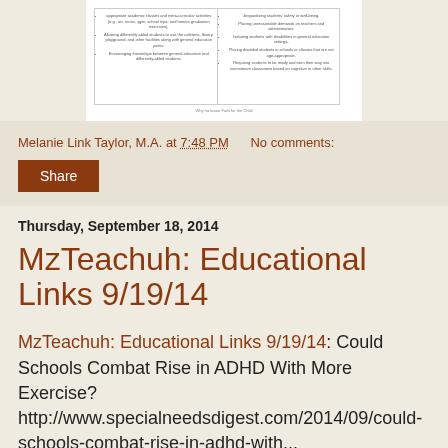[Figure (screenshot): Document page thumbnail showing two-column list content about inclusion and education]
Melanie Link Taylor, M.A. at 7:48 PM   No comments:
Share
Thursday, September 18, 2014
MzTeachuh: Educational Links 9/19/14
MzTeachuh: Educational Links 9/19/14: Could Schools Combat Rise in ADHD With More Exercise? http://www.specialneedsdigest.com/2014/09/could-schools-combat-rise-in-adhd-with...
Melanie Link Taylor, M.A. at 9:05 PM   No comments:
Share